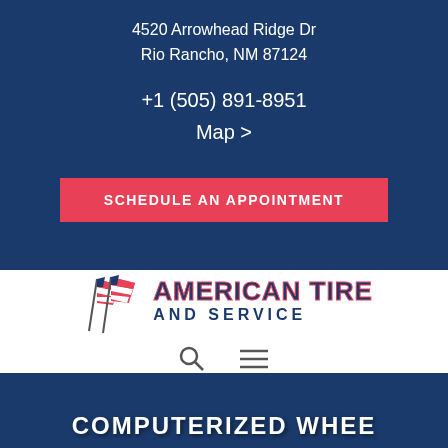4520 Arrowhead Ridge Dr
Rio Rancho, NM 87124
+1 (505) 891-8951
Map >
SCHEDULE AN APPOINTMENT
[Figure (logo): American Tire and Service logo with two American flags crossed on the left and bold text reading AMERICAN TIRE AND SERVICE]
[Figure (other): Search icon (magnifying glass) and hamburger menu icon (three horizontal lines)]
COMPUTERIZED WHEE